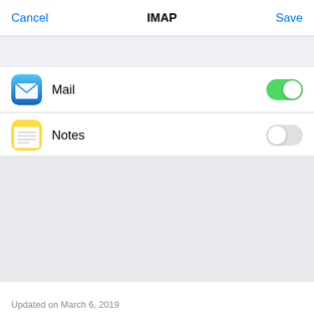Cancel  IMAP  Save
[Figure (screenshot): Gray section below navigation bar]
Mail — toggle ON (green)
Notes — toggle OFF (gray)
[Figure (screenshot): Gray empty section area]
Updated on March 6, 2019